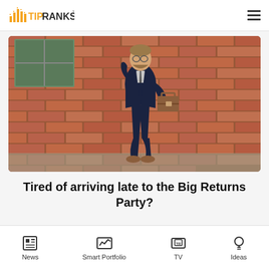TipRanks
[Figure (photo): A man in a dark business suit carrying a brown leather briefcase, running energetically along a brick wall outdoors.]
Tired of arriving late to the Big Returns Party?
News | Smart Portfolio | TV | Ideas